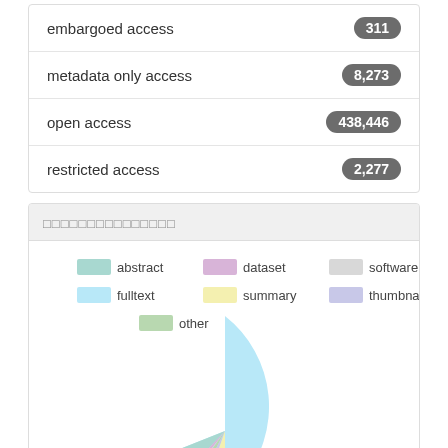embargoed access  311
metadata only access  8,273
open access  438,446
restricted access  2,277
□□□□□□□□□□□□□□□
[Figure (pie-chart): ]